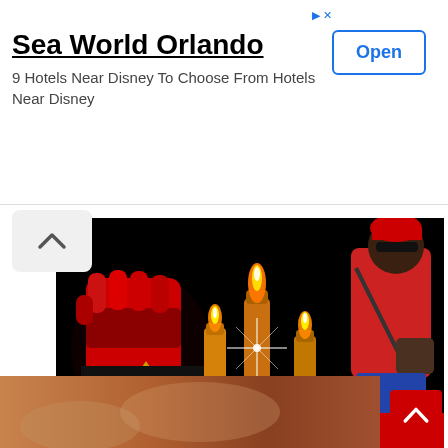[Figure (infographic): Advertisement banner for Sea World Orlando showing hotel deals near Disney with an Open button]
Sea World Orlando
9 Hotels Near Disney To Choose From Hotels Near Disney
[Figure (photo): Memorial image with black background showing a raised fist with Biafra flag colors (red, black, gold, green), three lit candles with a star burst effect, a person in red outfit with bag and red headwrap, text IKONSO and a red banner reading HERO GONE TOO SOON]
HERO GONE TOO SOON
[Figure (photo): Partial bottom image showing blurred brownish tones, partially cut off]